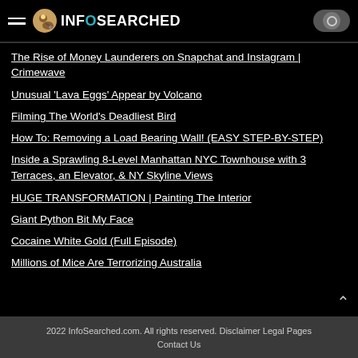InfoSearched
The Rise of Money Launderers on Snapchat and Instagram | Crimewave
Unusual 'Lava Eggs' Appear by Volcano
Filming The World's Deadliest Bird
How To: Removing a Load Bearing Wall! (EASY STEP-BY-STEP)
Inside a Sprawling 8-Level Manhattan NYC Townhouse with 3 Terraces, an Elevator, & NY Skyline Views
HUGE TRANSFORMATION | Painting The Interior
Giant Python Bit My Face
Cocaine White Gold (Full Episode)
Millions of Mice Are Terrorizing Australia
2022 InfoSearched.com. All rights reserved. Disclaimer Legal Pages Contact Us